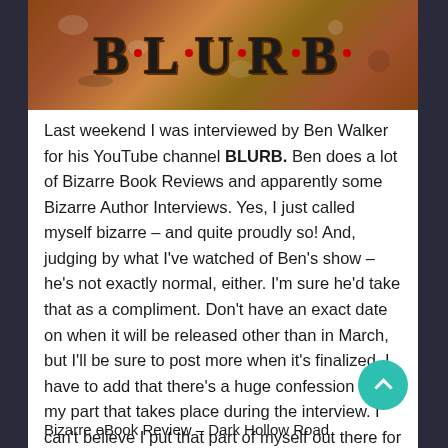[Figure (photo): Book cover image showing the text B.L.U.R.B. in large dark gothic lettering with red dot decorations on a rust/brown textured background]
Last weekend I was interviewed by Ben Walker for his YouTube channel BLURB. Ben does a lot of Bizarre Book Reviews and apparently some Bizarre Author Interviews. Yes, I just called myself bizarre – and quite proudly so! And, judging by what I've watched of Ben's show – he's not exactly normal, either. I'm sure he'd take that as a compliment. Don't have an exact date on when it will be released other than in March, but I'll be sure to post more when it's finalized. I have to add that there's a huge confession on my part that takes place during the interview. I can't believe I put that part of myself out there for the whole world to know. God, help me. Ben also posted a book review for my psychological horror novel, Dark Hollow Road that you can find here.
Bizarre eBook Review – Dark Hollow Road